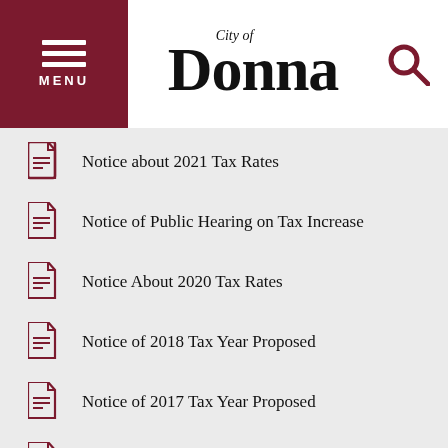City of Donna — MENU / Logo / Search
Notice about 2021 Tax Rates
Notice of Public Hearing on Tax Increase
Notice About 2020 Tax Rates
Notice of 2018 Tax Year Proposed
Notice of 2017 Tax Year Proposed
Notice of 2016 Tax Year Proposed
Notice of 2014 Tax Year Proposed